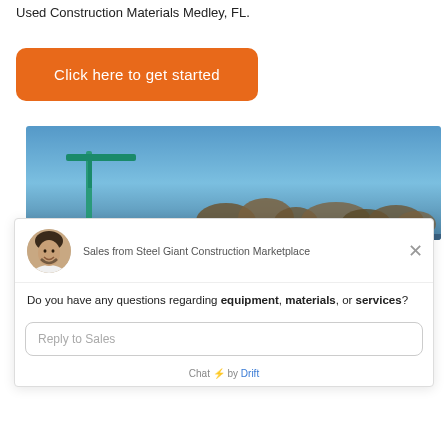Used Construction Materials Medley, FL.
[Figure (other): Orange rounded rectangle button with white text: Click here to get started]
[Figure (photo): Outdoor photo showing blue sky with green construction crane and brown trees in background]
[Figure (other): Chat widget from Steel Giant Construction Marketplace showing avatar of a smiling male sales representative, message asking about equipment, materials, or services, and a reply input field. Footer shows 'Chat by Drift']